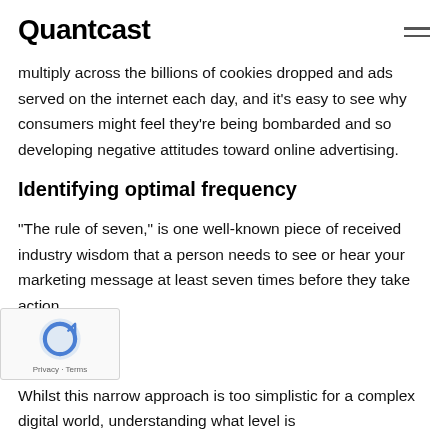Quantcast
multiply across the billions of cookies dropped and ads served on the internet each day, and it's easy to see why consumers might feel they're being bombarded and so developing negative attitudes toward online advertising.
Identifying optimal frequency
“The rule of seven,” is one well-known piece of received industry wisdom that a person needs to see or hear your marketing message at least seven times before they take action.
Whilst this narrow approach is too simplistic for a complex digital world, understanding what level is